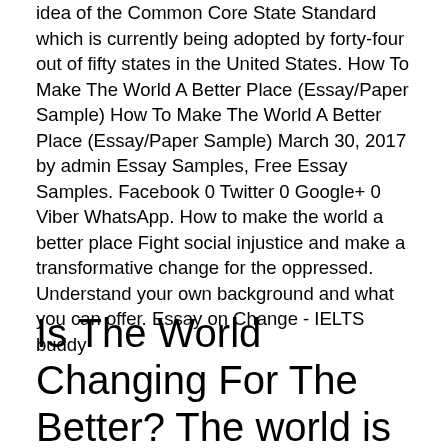idea of the Common Core State Standard which is currently being adopted by forty-four out of fifty states in the United States. How To Make The World A Better Place (Essay/Paper Sample) How To Make The World A Better Place (Essay/Paper Sample) March 30, 2017 by admin Essay Samples, Free Essay Samples. Facebook 0 Twitter 0 Google+ 0 Viber WhatsApp. How to make the world a better place Fight social injustice and make a transformative change for the oppressed. Understand your own background and what you can offer. Essay on Change - IELTS buddy
Is The World Changing For The Better? The world is evolving. Whereas some may say the world is evolving for the worse, it is obvious that the world is evolving for the